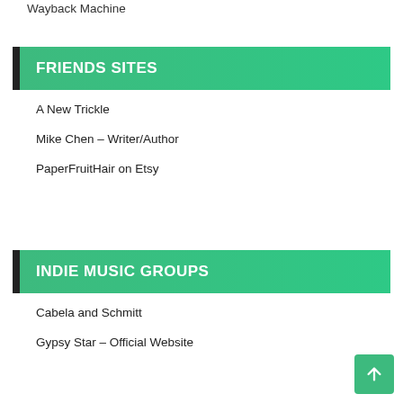Wayback Machine
FRIENDS SITES
A New Trickle
Mike Chen – Writer/Author
PaperFruitHair on Etsy
INDIE MUSIC GROUPS
Cabela and Schmitt
Gypsy Star – Official Website